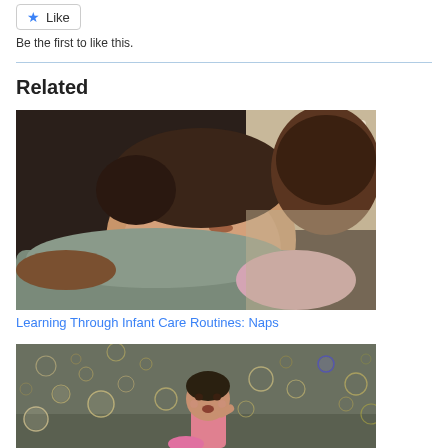[Figure (other): Like button with blue star icon]
Be the first to like this.
Related
[Figure (photo): A sleeping baby resting on an adult's shoulder, mother holding infant, warm indoor scene]
Learning Through Infant Care Routines: Naps
[Figure (photo): A toddler playing outdoors surrounded by bubbles, child looking up at colorful soap bubbles]